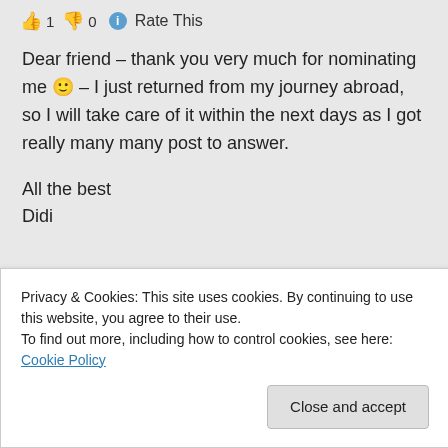👍 1 👎 0 ℹ Rate This
Dear friend – thank you very much for nominating me 🙂 – I just returned from my journey abroad, so I will take care of it within the next days as I got really many many post to answer.

All the best
Didi
★ Liked by 3 people
Privacy & Cookies: This site uses cookies. By continuing to use this website, you agree to their use.
To find out more, including how to control cookies, see here: Cookie Policy